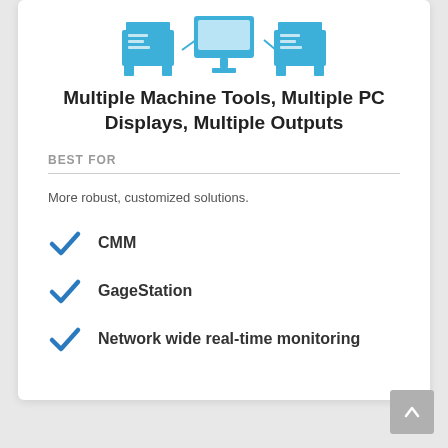[Figure (illustration): Three blue icons of machine tools/industrial equipment connected to a PC monitor, representing multiple machine tools and displays]
Multiple Machine Tools, Multiple PC Displays, Multiple Outputs
BEST FOR
More robust, customized solutions.
CMM
GageStation
Network wide real-time monitoring